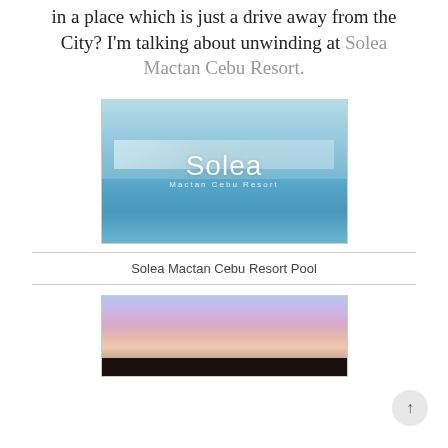in a place which is just a drive away from the City? I'm talking about unwinding at Solea Mactan Cebu Resort.
[Figure (photo): Aerial/ground level photo of Solea Mactan Cebu Resort pool area with palm trees and resort structures. White text overlay reads 'Solea' large and 'Mactan Cebu Resort' below.]
Solea Mactan Cebu Resort Pool
[Figure (photo): Sunset photo showing colorful purple-pink sky with silhouette of palm trees at the bottom.]